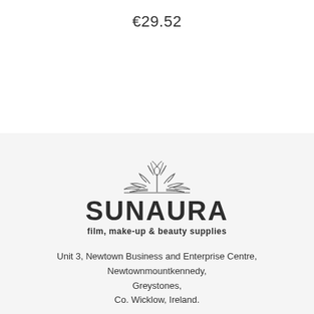€29.52
[Figure (logo): Sunaura floral/lily logo with stylized petals above the brand name]
SUNAURA
film, make-up & beauty supplies
Unit 3, Newtown Business and Enterprise Centre, Newtownmountkennedy, Greystones, Co. Wicklow, Ireland.